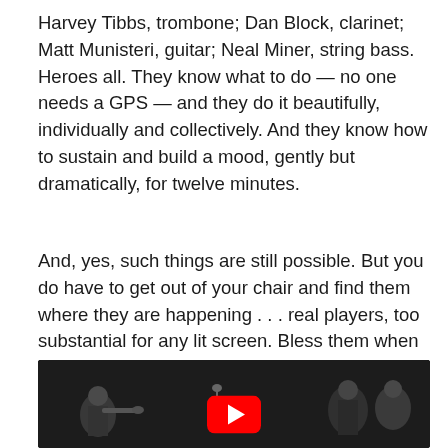Harvey Tibbs, trombone; Dan Block, clarinet; Matt Munisteri, guitar; Neal Miner, string bass. Heroes all. They know what to do — no one needs a GPS — and they do it beautifully, individually and collectively. And they know how to sustain and build a mood, gently but dramatically, for twelve minutes.
And, yes, such things are still possible. But you do have to get out of your chair and find them where they are happening . . . real players, too substantial for any lit screen. Bless them when you see and hear them, too.
[Figure (screenshot): YouTube video thumbnail for 'BEALE STREET': JON-ERIK KELLS... showing a black and white image of musicians with a red YouTube play button in the center.]